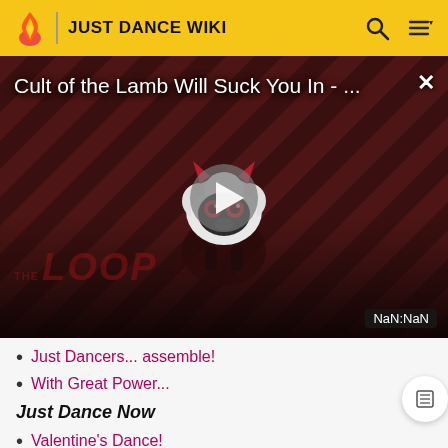JUST DANCE WIKI
[Figure (screenshot): Video thumbnail for 'Cult of the Lamb Will Suck You In - ...' showing a cartoon lamb character with devil horns, red eyes, on a dark red diagonal stripe background. A gray play button triangle is centered. THE LOOP text appears in bottom left. NaN:NaN timestamp shown bottom right.]
Just Dancers... assemble!
With Great Power...
Just Dance Now
Valentine's Dance!
Wacky Coaches!